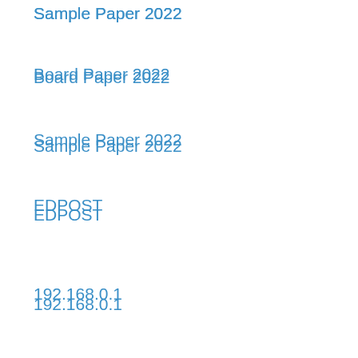Sample Paper 2022
Board Paper 2022
Sample Paper 2022
EDPOST
192.168.0.1
Scholarship- Fellowship
JNVST Result 2021
LI9
12th Model Paper 2022
10th Model Paper 2022